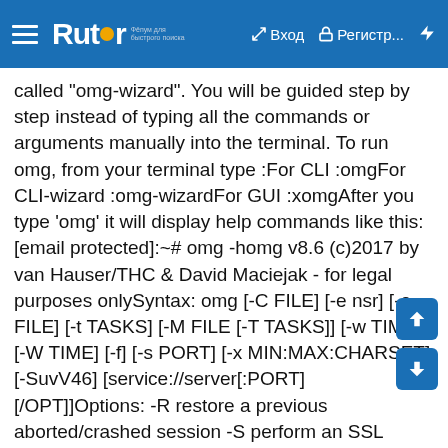Rutor — Вход  Регистр...  ⚡
called "omg-wizard". You will be guided step by step instead of typing all the commands or arguments manually into the terminal. To run omg, from your terminal type :For CLI :omgFor CLI-wizard :omg-wizardFor GUI :xomgAfter you type 'omg' it will display help commands like this:[email protected]:~# omg -homg v8.6 (c)2017 by van Hauser/THC & David Maciejak - for legal purposes onlySyntax: omg [-C FILE] [-e nsr] [-o FILE] [-t TASKS] [-M FILE [-T TASKS]] [-w TIME] [-W TIME] [-f] [-s PORT] [-x MIN:MAX:CHARSET] [-SuvV46] [service://server[:PORT][/OPT]]Options: -R restore a previous aborted/crashed session -S perform an SSL connect -s PORT if the service is on a different default port, define it here -l LOGIN or -L FILE login with LOGIN name, or load several logins from FILE -p PASS or -P FILE try password PASS, or load several passwords from FILE -x MIN:MAX:CHARSET password bruteforce generation type "-x -h" to get help -e nsr try "n" null password, "s" login as pass and/or "r" reversed login -u loop around users, not passwords (effective! implied with -x) -C FILE colon separated "login:pass" format, instead of -L/-P options -M FILE list of